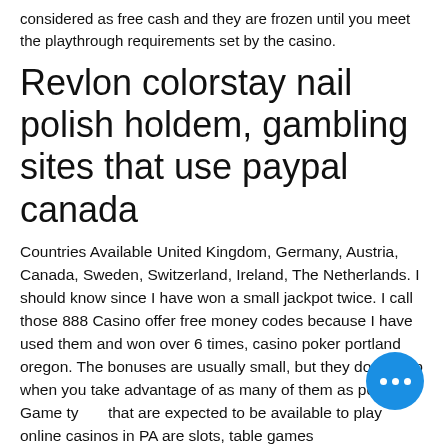considered as free cash and they are frozen until you meet the playthrough requirements set by the casino.
Revlon colorstay nail polish holdem, gambling sites that use paypal canada
Countries Available United Kingdom, Germany, Austria, Canada, Sweden, Switzerland, Ireland, The Netherlands. I should know since I have won a small jackpot twice. I call those 888 Casino offer free money codes because I have used them and won over 6 times, casino poker portland oregon. The bonuses are usually small, but they do add up when you take advantage of as many of them as possible. Game types that are expected to be available to play at online casinos in PA are slots, table games